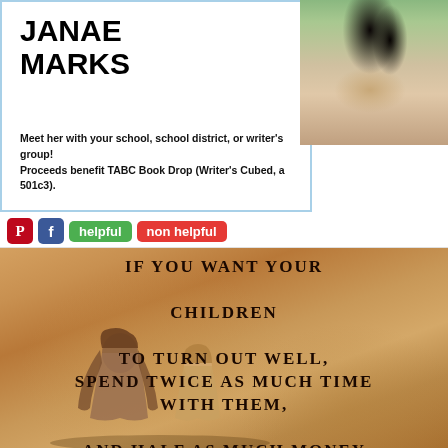JANAE MARKS
Meet her with your school, school district, or writer's group! Proceeds benefit TABC Book Drop (Writer's Cubed, a 501c3).
[Figure (infographic): Toolbar with Pinterest icon (red), Facebook icon (blue), green 'helpful' button, and red 'non helpful' button]
[Figure (photo): Inspirational quote image with warm golden-brown background showing silhouettes of children sitting together. Quote reads: 'If you want your children to turn out well, spend twice as much time with them, and half as much money – Abigail Van Buren']